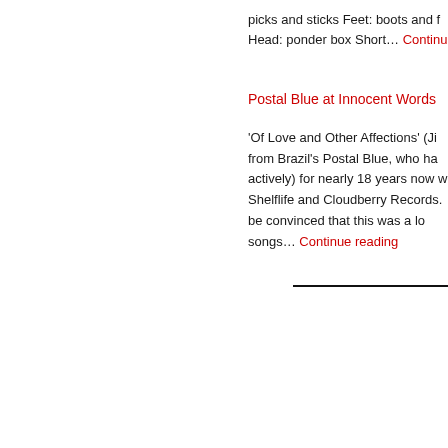picks and sticks Feet: boots and f Head: ponder box Short... Continue
Postal Blue at Innocent Words
'Of Love and Other Affections' (Ji from Brazil's Postal Blue, who ha actively) for nearly 18 years now w Shelflife and Cloudberry Records. be convinced that this was a lo songs... Continue reading